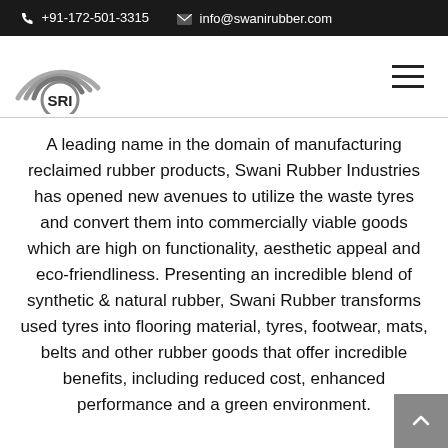+91-172-501-3315  info@swanirubber.com
[Figure (logo): SRI (Swani Rubber Industries) logo with arc signal lines above the text SRI]
A leading name in the domain of manufacturing reclaimed rubber products, Swani Rubber Industries has opened new avenues to utilize the waste tyres and convert them into commercially viable goods which are high on functionality, aesthetic appeal and eco-friendliness. Presenting an incredible blend of synthetic & natural rubber, Swani Rubber transforms used tyres into flooring material, tyres, footwear, mats, belts and other rubber goods that offer incredible benefits, including reduced cost, enhanced performance and a green environment.